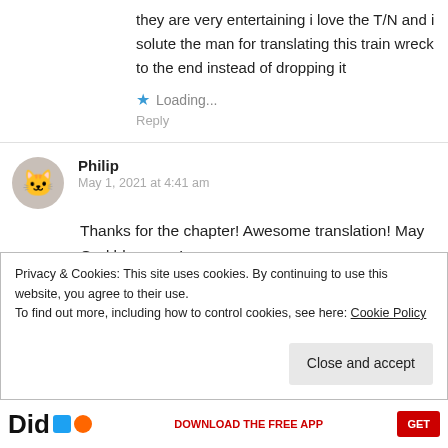they are very entertaining i love the T/N and i solute the man for translating this train wreck to the end instead of dropping it
Loading...
Reply
Philip
May 1, 2021 at 4:41 am
Thanks for the chapter! Awesome translation! May God bless you!
Privacy & Cookies: This site uses cookies. By continuing to use this website, you agree to their use. To find out more, including how to control cookies, see here: Cookie Policy
Close and accept